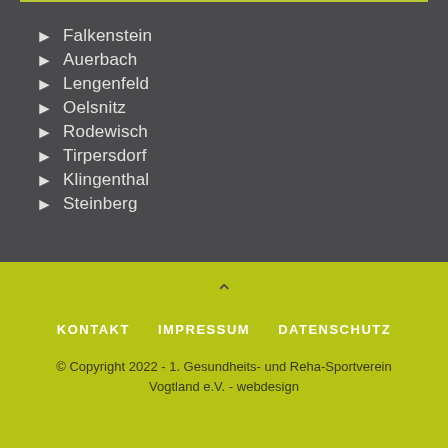Falkenstein
Auerbach
Lengenfeld
Oelsnitz
Rodewisch
Tirpersdorf
Klingenthal
Steinberg
KONTAKT   IMPRESSUM   DATENSCHUTZ
© Copyright 2022 - 1. Gesundheits- und Reha-Sportverein Vogtland e.V. - webdesign